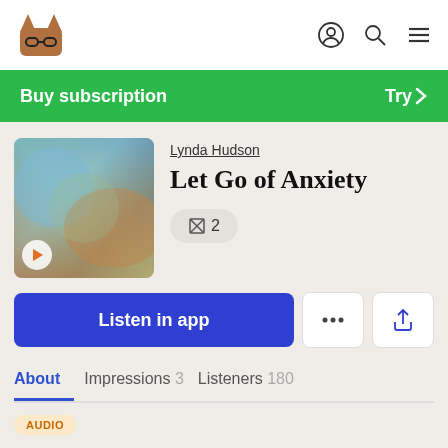Lynda Hudson - Let Go of Anxiety
Buy subscription
Try >
[Figure (photo): Blurred abstract book cover with blue, brown, and green gradient colors]
Lynda Hudson
Let Go of Anxiety
2
Listen in app
About
Impressions 3
Listeners 180
AUDIO
Does your child have a tendency to be anxious or overly